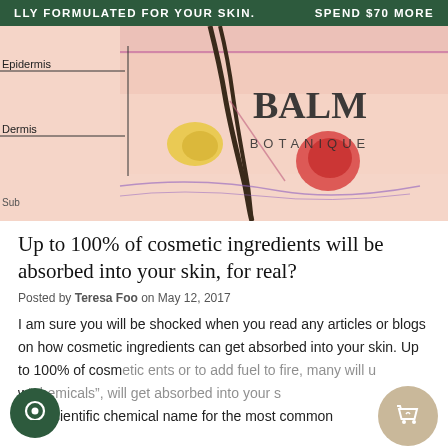LLY FORMULATED FOR YOUR SKIN.    SPEND $70 MORE
[Figure (illustration): Cross-section diagram of human skin layers showing hair follicle, epidermis, dermis, papillary layer, sebaceous (oil) gland, arrector pili muscle, with Balm Botanique logo overlay]
Up to 100% of cosmetic ingredients will be absorbed into your skin, for real?
Posted by Teresa Foo on May 12, 2017
I am sure you will be shocked when you read any articles or blogs on how cosmetic ingredients can get absorbed into your skin. Up to 100% of cosmetic ents or to add fuel to fire, many will u w chemicals", will get absorbed into your s The scientific chemical name for the most common